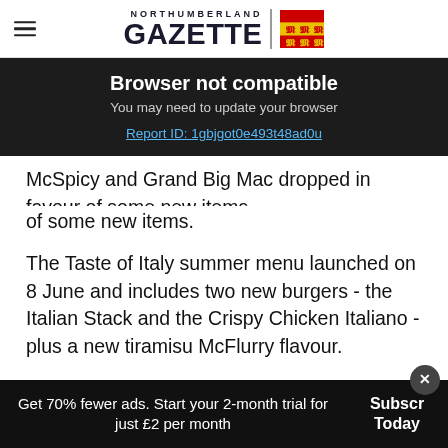NORTHUMBERLAND GAZETTE
[Figure (screenshot): Browser not compatible banner with dark background. Title: 'Browser not compatible'. Subtitle: 'You may need to update your browser'. Link: 'Report ID: 1gbjgot0e493t48ad0u']
McSpicy and Grand Big Mac dropped in favour of some new items.
The Taste of Italy summer menu launched on 8 June and includes two new burgers - the Italian Stack and the Crispy Chicken Italiano - plus a new tiramisu McFlurry flavour.
Get 70% fewer ads. Start your 2-month trial for just £2 per month